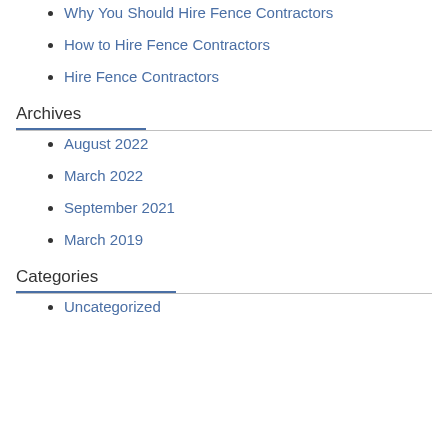Why You Should Hire Fence Contractors
How to Hire Fence Contractors
Hire Fence Contractors
Archives
August 2022
March 2022
September 2021
March 2019
Categories
Uncategorized